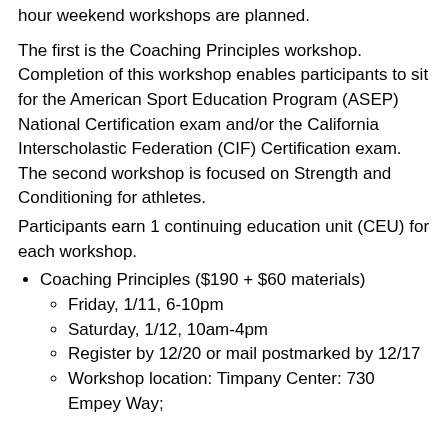hour weekend workshops are planned.
The first is the Coaching Principles workshop. Completion of this workshop enables participants to sit for the American Sport Education Program (ASEP) National Certification exam and/or the California Interscholastic Federation (CIF) Certification exam.  The second workshop is focused on Strength and Conditioning for athletes.
Participants earn 1 continuing education unit (CEU) for each workshop.
Coaching Principles ($190 + $60 materials)
Friday, 1/11, 6-10pm
Saturday, 1/12, 10am-4pm
Register by 12/20 or mail postmarked by 12/17
Workshop location: Timpany Center: 730 Empey Way;